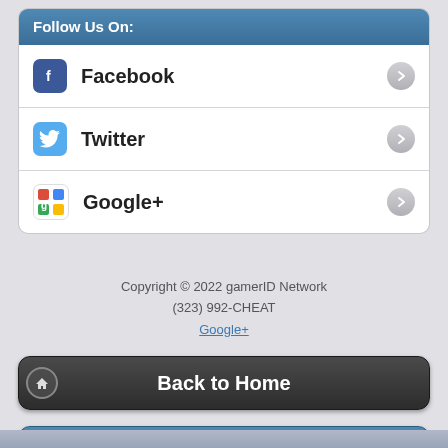Follow Us On:
Facebook
Twitter
Google+
Copyright © 2022 gamerID Network
(323) 992-CHEAT
Google+
Back to Home
Send Us a Text!